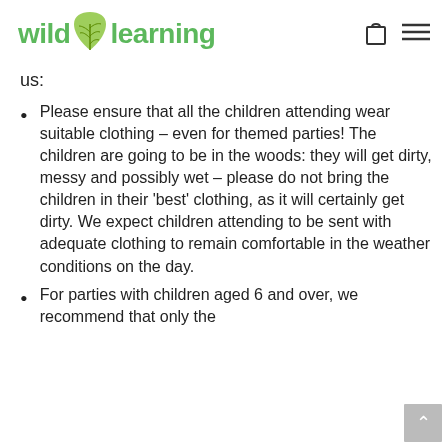wild learning
us:
Please ensure that all the children attending wear suitable clothing – even for themed parties! The children are going to be in the woods: they will get dirty, messy and possibly wet – please do not bring the children in their 'best' clothing, as it will certainly get dirty. We expect children attending to be sent with adequate clothing to remain comfortable in the weather conditions on the day.
For parties with children aged 6 and over, we recommend that only the